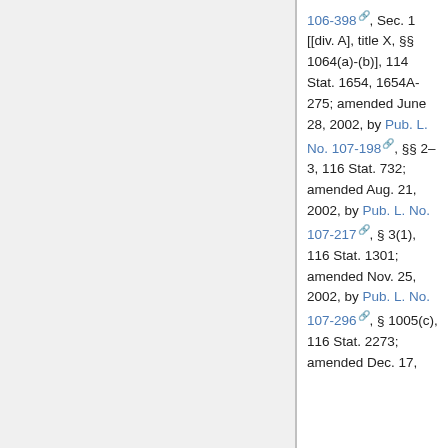106-398, Sec. 1 [[div. A], title X, §§ 1064(a)-(b)], 114 Stat. 1654, 1654A-275; amended June 28, 2002, by Pub. L. No. 107-198, §§ 2–3, 116 Stat. 732; amended Aug. 21, 2002, by Pub. L. No. 107-217, § 3(1), 116 Stat. 1301; amended Nov. 25, 2002, by Pub. L. No. 107-296, § 1005(c), 116 Stat. 2273; amended Dec. 17,